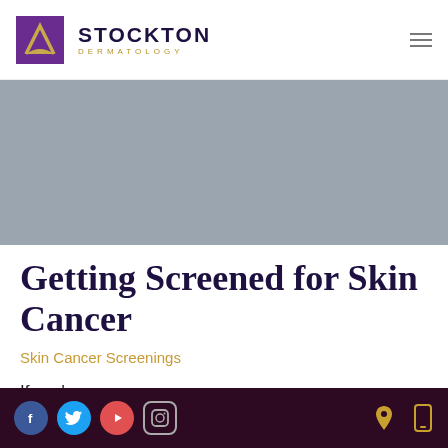[Figure (logo): Stockton Dermatology logo with purple S icon and gold DERMATOLOGY text]
[Figure (photo): Grey hero banner image area]
Getting Screened for Skin Cancer
Skin Cancer Screenings
If you're
Social media icons (Facebook, Twitter, YouTube, Instagram) and location/phone icons